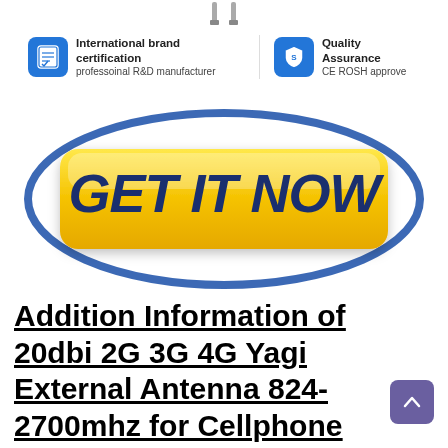[Figure (illustration): Two antenna tips visible at top of page]
[Figure (infographic): Two certification badges: 'International brand certification - professoinal R&D manufacturer' with clipboard icon, and 'Quality Assurance - CE ROSH approve' with shield icon]
[Figure (illustration): Yellow 'GET IT NOW' button with blue ellipse outline around it, on white background]
Addition Information of 20dbi 2G 3G 4G Yagi External Antenna 824-2700mhz for Cellphone Signal Booster and More